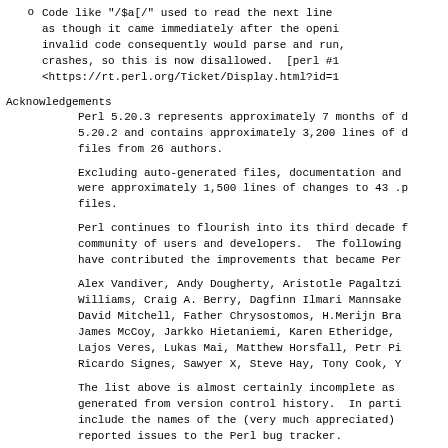o   Code like "/$a[/" used to read the next line as though it came immediately after the opening bracket, so that invalid code consequently would parse and run, causing crashes, so this is now disallowed.  [perl #12 <https://rt.perl.org/Ticket/Display.html?id=12
Acknowledgements
Perl 5.20.3 represents approximately 7 months of d 5.20.2 and contains approximately 3,200 lines of d files from 26 authors.
Excluding auto-generated files, documentation and were approximately 1,500 lines of changes to 43 .p files.
Perl continues to flourish into its third decade f community of users and developers.  The following have contributed the improvements that became Per
Alex Vandiver, Andy Dougherty, Aristotle Pagaltzis Williams, Craig A. Berry, Dagfinn Ilmari Mannsaker David Mitchell, Father Chrysostomos, H.Merijn Bra James McCoy, Jarkko Hietaniemi, Karen Etheridge, Lajos Veres, Lukas Mai, Matthew Horsfall, Petr Pi Ricardo Signes, Sawyer X, Steve Hay, Tony Cook, Y
The list above is almost certainly incomplete as generated from version control history.  In parti include the names of the (very much appreciated) reported issues to the Perl bug tracker.